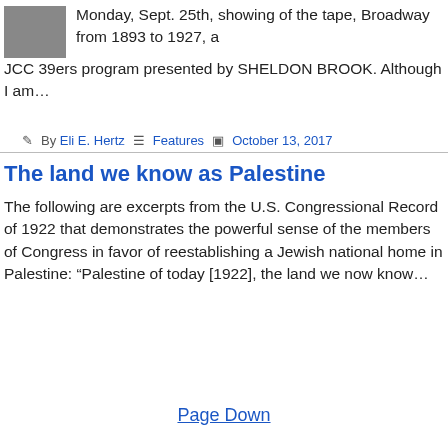Monday, Sept. 25th, showing of the tape, Broadway from 1893 to 1927, a JCC 39ers program presented by SHELDON BROOK. Although I am…
By Eli E. Hertz  Features  October 13, 2017
The land we know as Palestine
The following are excerpts from the U.S. Congressional Record of 1922 that demonstrates the powerful sense of the members of Congress in favor of reestablishing a Jewish national home in Palestine: "Palestine of today [1922], the land we now know...
Page Down